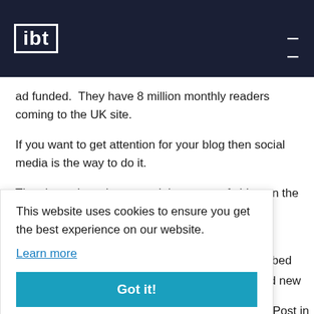ibt
ad funded.  They have 8 million monthly readers coming to the UK site.
If you want to get attention for your blog then social media is the way to do it.
They haven't yet harnessed the power of video on the blog
This website uses cookies to ensure you get the best experience on our website.
Learn more
Got it!
pass them on to the right person.